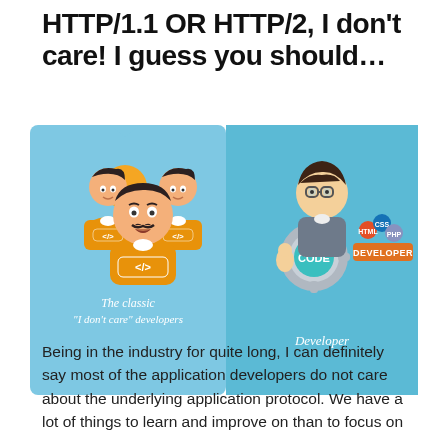HTTP/1.1 OR HTTP/2, I don't care! I guess you should...
[Figure (infographic): Infographic showing two panels on a blue background. Left panel shows three cartoon figures with orange shirts labeled '</>' captioned 'The classic "I don't care" developers'. Right panel shows a developer cartoon holding a gear with 'CODE' on it and a 'DEVELOPER' badge, labeled 'Developer'.]
Being in the industry for quite long, I can definitely say most of the application developers do not care about the underlying application protocol. We have a lot of things to learn and improve on than to focus on